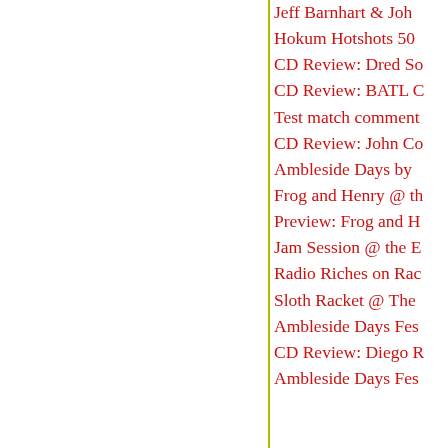Jeff Barnhart & John…
Hokum Hotshots 50…
CD Review: Dred So…
CD Review: BATL C…
Test match comment…
CD Review: John Co…
Ambleside Days by …
Frog and Henry @ th…
Preview: Frog and H…
Jam Session @ the E…
Radio Riches on Rac…
Sloth Racket @ The …
Ambleside Days Fes…
CD Review: Diego R…
Ambleside Days Fes…